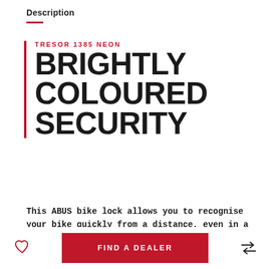Description
TRESOR 1385 NEON
BRIGHTLY COLOURED SECURITY
This ABUS bike lock allows you to recognise your bike quickly from a distance, even in a full bike rack. Let the other riders spend time hunting for their bikes.
FIND A DEALER